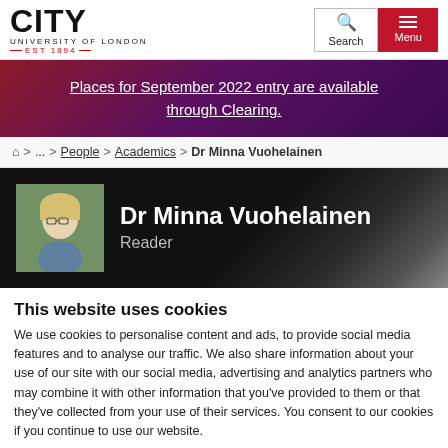[Figure (logo): City University of London logo with EST 1894]
Search
Menu
Places for September 2022 entry are available through Clearing.
⌂ > ... > People > Academics > Dr Minna Vuohelainen
[Figure (photo): Headshot photo of Dr Minna Vuohelainen]
Dr Minna Vuohelainen
Reader
This website uses cookies
We use cookies to personalise content and ads, to provide social media features and to analyse our traffic. We also share information about your use of our site with our social media, advertising and analytics partners who may combine it with other information that you've provided to them or that they've collected from your use of their services. You consent to our cookies if you continue to use our website.